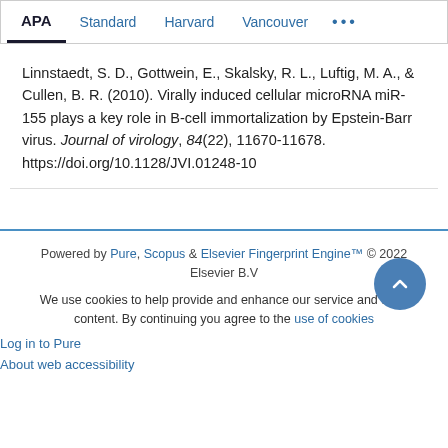APA | Standard | Harvard | Vancouver | ...
Linnstaedt, S. D., Gottwein, E., Skalsky, R. L., Luftig, M. A., & Cullen, B. R. (2010). Virally induced cellular microRNA miR-155 plays a key role in B-cell immortalization by Epstein-Barr virus. Journal of virology, 84(22), 11670-11678. https://doi.org/10.1128/JVI.01248-10
Powered by Pure, Scopus & Elsevier Fingerprint Engine™ © 2022 Elsevier B.V
We use cookies to help provide and enhance our service and tailor content. By continuing you agree to the use of cookies
Log in to Pure
About web accessibility